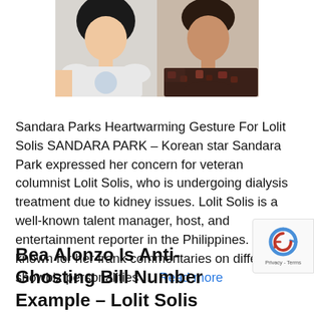[Figure (photo): Two people side by side: a woman on the left in a white top with dark hair, and a person on the right in a patterned dark shirt]
Sandara Parks Heartwarming Gesture For Lolit Solis SANDARA PARK – Korean star Sandara Park expressed her concern for veteran columnist Lolit Solis, who is undergoing dialysis treatment due to kidney issues. Lolit Solis is a well-known talent manager, host, and entertainment reporter in the Philippines. She's known for her frank commentaries on different showbiz personalities … Read more
Bea Alonzo Is Anti-Ghosting Bill Number Example – Lolit Solis